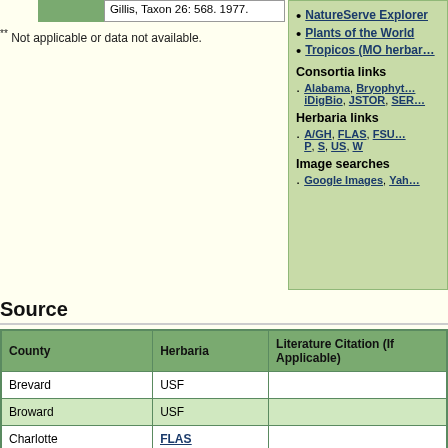Gillis, Taxon 26: 568. 1977.
** Not applicable or data not available.
NatureServe Explorer
Plants of the World
Tropicos (MO herbar…
Consortia links
Alabama, Bryophyt… iDigBio, JSTOR, SER…
Herbaria links
A/GH, FLAS, FSU… P, S, US, W
Image searches
Google Images, Yah…
Source
| County | Herbaria | Literature Citation (If Applicable) |
| --- | --- | --- |
| Brevard | USF |  |
| Broward | USF |  |
| Charlotte | FLAS |  |
| Collier | FTG |  |
| Hardee | USF |  |
+ Expand All